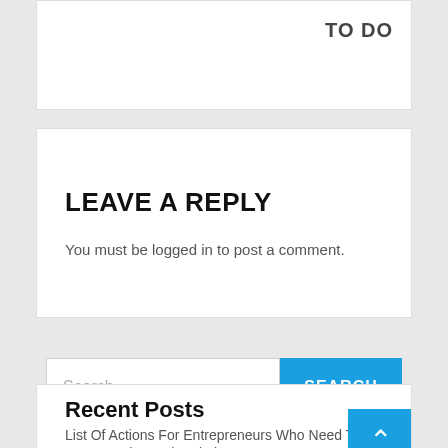TO DO
LEAVE A REPLY
You must be logged in to post a comment.
Search ...
Recent Posts
List Of Actions For Entrepreneurs Who Need To S
A Tour And Travel Website